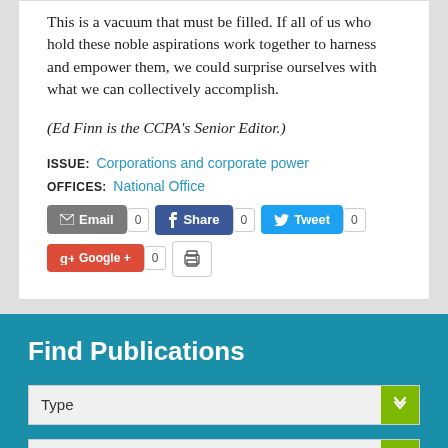This is a vacuum that must be filled. If all of us who hold these noble aspirations work together to harness and empower them, we could surprise ourselves with what we can collectively accomplish.
(Ed Finn is the CCPA's Senior Editor.)
ISSUE: Corporations and corporate power
OFFICES: National Office
[Figure (screenshot): Social sharing buttons: Email (0), Share on Facebook (0), Tweet (0), Google+ (0), and a print button]
Find Publications
[Figure (screenshot): Dropdown selector labeled 'Type' with a green arrow button]
[Figure (screenshot): Dropdown selector labeled 'Office' with a green arrow button]